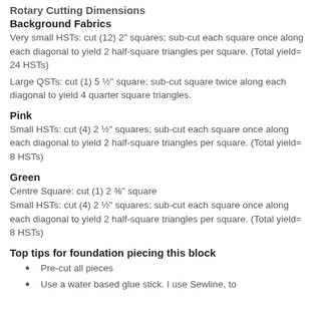Rotary Cutting Dimensions
Background Fabrics
Very small HSTs: cut (12) 2" squares; sub-cut each square once along each diagonal to yield 2 half-square triangles per square. (Total yield= 24 HSTs)
Large QSTs: cut (1) 5 ½" square; sub-cut square twice along each diagonal to yield 4 quarter square triangles.
Pink
Small HSTs: cut (4) 2 ½" squares; sub-cut each square once along each diagonal to yield 2 half-square triangles per square. (Total yield= 8 HSTs)
Green
Centre Square: cut (1) 2 ⅜" square
Small HSTs: cut (4) 2 ½" squares; sub-cut each square once along each diagonal to yield 2 half-square triangles per square. (Total yield= 8 HSTs)
Top tips for foundation piecing this block
Pre-cut all pieces
Use a water based glue stick. I use Sewline, to